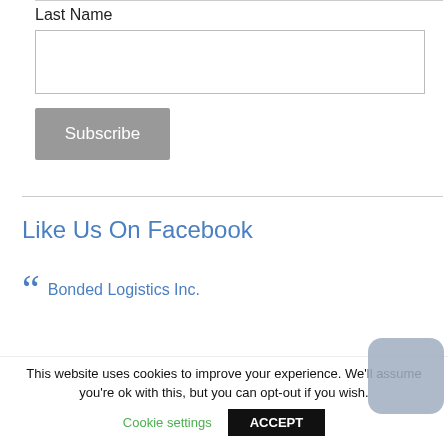Last Name
Subscribe
Like Us On Facebook
Bonded Logistics Inc.
This website uses cookies to improve your experience. We'll assume you're ok with this, but you can opt-out if you wish.
Cookie settings
ACCEPT